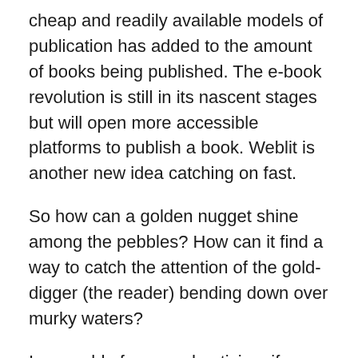cheap and readily available models of publication has added to the amount of books being published. The e-book revolution is still in its nascent stages but will open more accessible platforms to publish a book. Weblit is another new idea catching on fast.
So how can a golden nugget shine among the pebbles? How can it find a way to catch the attention of the gold-digger (the reader) bending down over murky waters?
In a world of mass advertising, if you have the money to allow newspaper and billboard promotion, TV, web, and radio, there is a clear route. The only barrier is having a marketing budget the size of a house purchase. For the A-list authors, this remains the easy and obvious way. When Dan Brown's new novel recently came out, we all knew about it, whether we follow his work or not. Someone